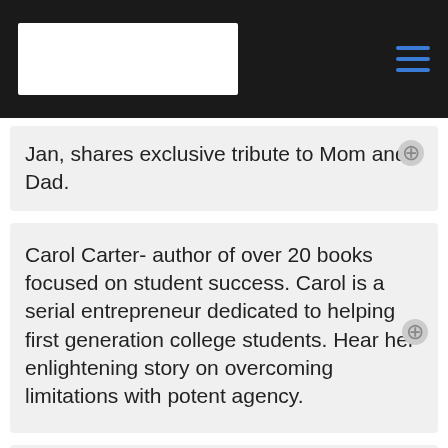Jan, shares exclusive tribute to Mom and Dad.
Carol Carter- author of over 20 books focused on student success. Carol is a serial entrepreneur dedicated to helping first generation college students. Hear her enlightening story on overcoming limitations with potent agency.
Lisa Bovee- When your son is killed, what do you do? Listen to Lisa make